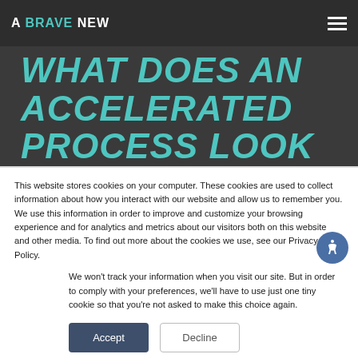A BRAVE NEW
WHAT DOES AN ACCELERATED PROCESS LOOK LIKE
This website stores cookies on your computer. These cookies are used to collect information about how you interact with our website and allow us to remember you. We use this information in order to improve and customize your browsing experience and for analytics and metrics about our visitors both on this website and other media. To find out more about the cookies we use, see our Privacy Policy.
We won't track your information when you visit our site. But in order to comply with your preferences, we'll have to use just one tiny cookie so that you're not asked to make this choice again.